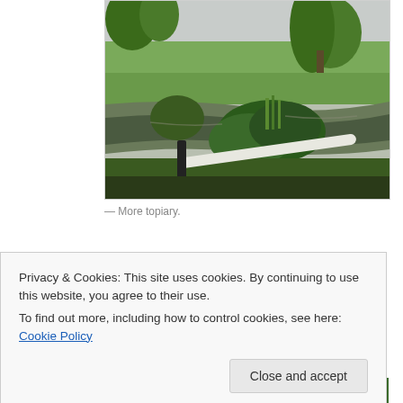[Figure (photo): Outdoor landscape photo showing a river or stream with lush green vegetation, bushes trimmed in topiary shapes, tall trees in the background, open fields, and a white horizontal pole or railing in the foreground.]
— More topiary.
Privacy & Cookies: This site uses cookies. By continuing to use this website, you agree to their use.
To find out more, including how to control cookies, see here: Cookie Policy
[Figure (photo): Partial bottom photo showing green outdoor scenery, partially visible.]